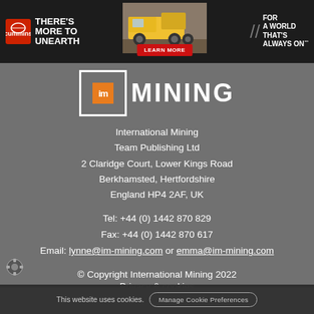[Figure (infographic): Cummins advertisement banner: logo on left with 'THERE'S MORE TO UNEARTH' tagline, mining truck image in center with red LEARN MORE button, and 'FOR A WORLD THAT'S ALWAYS ON' text on right]
[Figure (logo): International Mining IM logo with orange square and white border box, with MINING text in large white letters]
International Mining
Team Publishing Ltd
2 Claridge Court, Lower Kings Road
Berkhamsted, Hertfordshire
England HP4 2AF, UK
Tel: +44 (0) 1442 870 829
Fax: +44 (0) 1442 870 617
Email: lynne@im-mining.com or emma@im-mining.com
© Copyright International Mining 2022
Privacy & cookies
This website uses cookies.  Manage Cookie Preferences